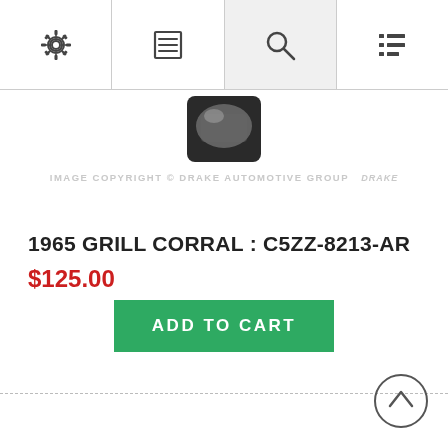[Figure (screenshot): Navigation bar with four icons: gear/settings, document/menu, search magnifier, and list/filter icons]
[Figure (photo): Small product photo thumbnail showing a partial view of a car grille part with Drake Automotive Group copyright watermark]
1965 GRILL CORRAL : C5ZZ-8213-AR
$125.00
ADD TO CART
[Figure (illustration): Back to top chevron arrow button circle]